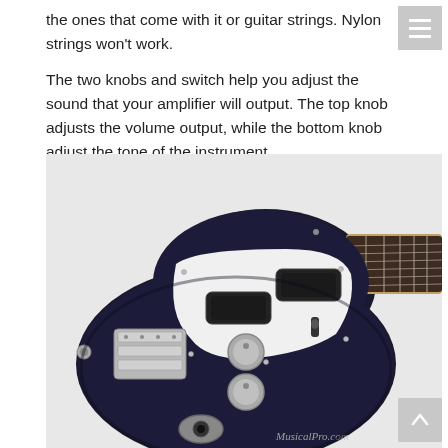the ones that come with it or guitar strings. Nylon strings won't work.
The two knobs and switch help you adjust the sound that your amplifier will output. The top knob adjusts the volume output, while the bottom knob adjust the tone of the instrument.
[Figure (photo): Close-up photograph of a black electric guitar body with white pickguard, two single-coil pickups, chrome bridge/tremolo, two chrome control knobs, a pickup selector switch, and the fretboard visible in the upper right. A watermark reading 'MusicalPro.com' appears in the lower right corner.]